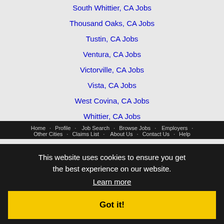South Whittier, CA Jobs
Thousand Oaks, CA Jobs
Tustin, CA Jobs
Ventura, CA Jobs
Victorville, CA Jobs
Vista, CA Jobs
West Covina, CA Jobs
Whittier, CA Jobs
Yorba Linda, CA Jobs
Yucaipa, CA Jobs
This website uses cookies to ensure you get the best experience on our website.
Learn more
Got it!
Home · Profile · Job Search · Browse Jobs · Employers · Other Cities · Claims List · About Us · Contact Us · Help
Terms of Service · Privacy Policy · Log in
Copyright © 2001 – 2022 Recruiter Media Corporation
Torrance Jobs